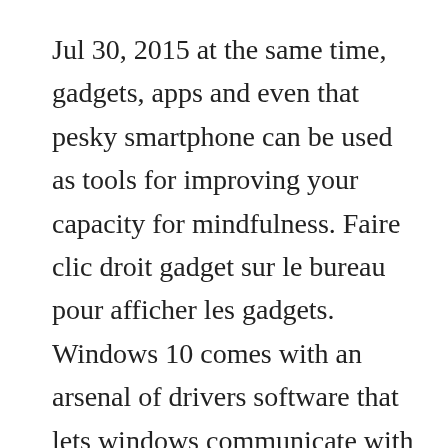Jul 30, 2015 at the same time, gadgets, apps and even that pesky smartphone can be used as tools for improving your capacity for mindfulness. Faire clic droit gadget sur le bureau pour afficher les gadgets. Windows 10 comes with an arsenal of drivers software that lets windows communicate with the gadgets you plug in to your pc. Gadget expert mark bridge is a professional copywriter who specialises in mobile phones, i. Both laptops at home are running windows 10, my office computer runs windows 7. Hello friends i am